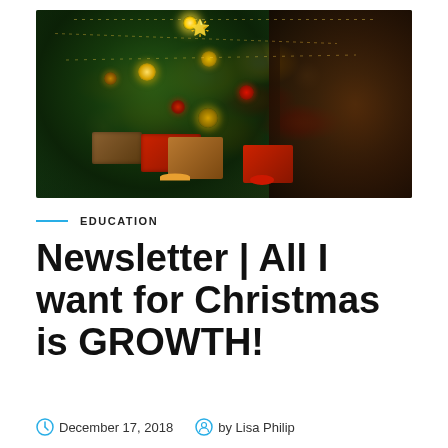[Figure (photo): A decorated Christmas tree with gold and red ornaments, string lights, and wrapped gifts underneath, in a warm indoor setting.]
EDUCATION
Newsletter | All I want for Christmas is GROWTH!
December 17, 2018   by Lisa Philip